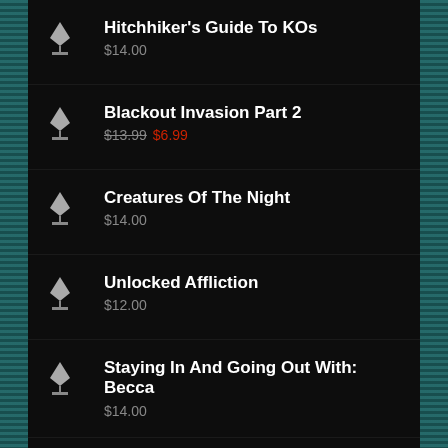Hitchhiker's Guide To KOs
$14.00
Blackout Invasion Part 2
$13.99 $6.99
Creatures Of The Night
$14.00
Unlocked Affliction
$12.00
Staying In And Going Out With: Becca
$14.00
Drugged Enforcement
$18.00